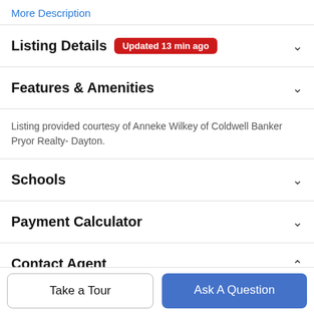More Description
Listing Details  Updated 13 min ago
Features & Amenities
Listing provided courtesy of Anneke Wilkey of Coldwell Banker Pryor Realty- Dayton.
Schools
Payment Calculator
Contact Agent
Take a Tour
Ask A Question